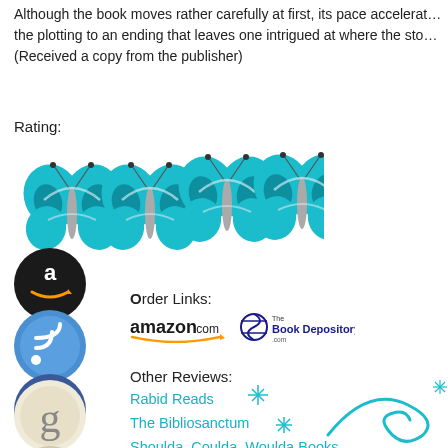Although the book moves rather carefully at first, its pace accelerates the plotting to an ending that leaves one intrigued at where the sto… (Received a copy from the publisher)
Rating:
[Figure (illustration): Four teal/turquoise butterfly icons in a row, used as a star rating (4 out of 5 butterflies)]
[Figure (logo): Amazon circular black icon with orange arrow]
[Figure (logo): RSS feed circular blue icon]
Order Links:
[Figure (logo): Amazon.com logo with curved underline arrow]
[Figure (logo): The Book Depository logo]
[Figure (logo): Facebook circular blue icon]
Other Reviews:
Rabid Reads
The Bibliosanctum
Shoulda, Coulda, Woulda Books
[Figure (illustration): Decorative teal swirl and sparkle design at bottom right corner]